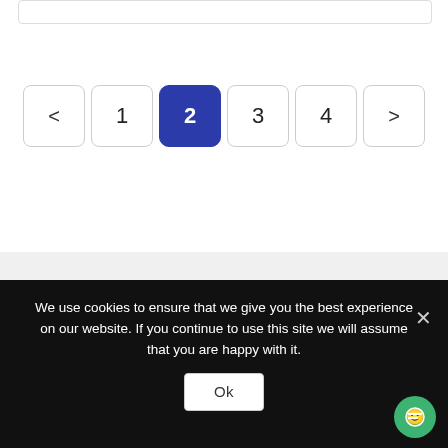[Figure (screenshot): Top border of a web content card or search result box]
< 1 2 3 4 >
Sign Up For Newsletters
We use cookies to ensure that we give you the best experience on our website. If you continue to use this site we will assume that you are happy with it.
Ok